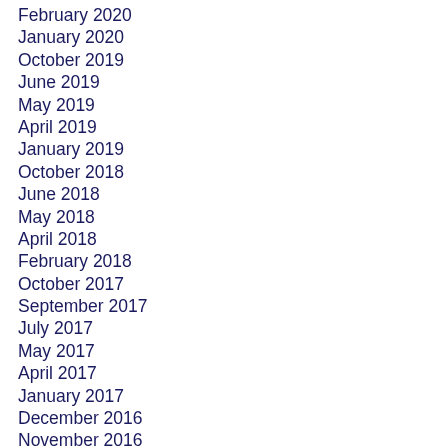February 2020
January 2020
October 2019
June 2019
May 2019
April 2019
January 2019
October 2018
June 2018
May 2018
April 2018
February 2018
October 2017
September 2017
July 2017
May 2017
April 2017
January 2017
December 2016
November 2016
October 2016